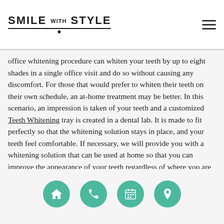SMILE WITH STYLE
office whitening procedure can whiten your teeth by up to eight shades in a single office visit and do so without causing any discomfort. For those that would prefer to whiten their teeth on their own schedule, an at-home treatment may be better. In this scenario, an impression is taken of your teeth and a customized Teeth Whitening tray is created in a dental lab. It is made to fit perfectly so that the whitening solution stays in place, and your teeth feel comfortable. If necessary, we will provide you with a whitening solution that can be used at home so that you can improve the appearance of your teeth regardless of where you are or how busy your schedule is. To learn more, call 714-703-0337 and
navigation icons: home, phone, calendar, location